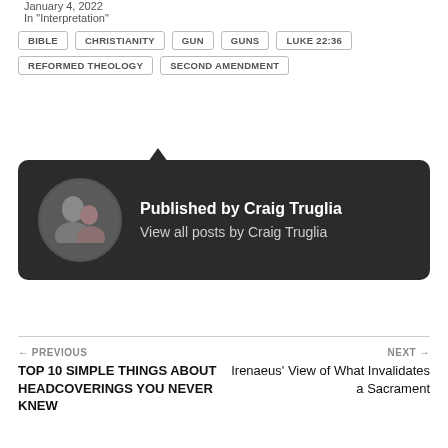January 4, 2022
In "Interpretation"
BIBLE
CHRISTIANITY
GUN
GUNS
LUKE 22:36
REFORMED THEOLOGY
SECOND AMENDMENT
[Figure (photo): Author card with dark background showing circular profile photo of Craig Truglia (man and woman) and text 'Published by Craig Truglia / View all posts by Craig Truglia']
← PREVIOUS
TOP 10 SIMPLE THINGS ABOUT HEADCOVERINGS YOU NEVER KNEW
NEXT →
Irenaeus' View of What Invalidates a Sacrament